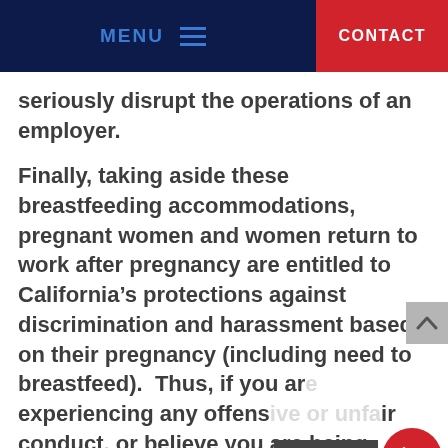MENU  CONTACT
seriously disrupt the operations of an employer.
Finally, taking aside these breastfeeding accommodations, pregnant women and women return to work after pregnancy are entitled to California's protections against discrimination and harassment based on their pregnancy (including need to breastfeed).  Thus, if you are experiencing any offensive or unfair conduct, or believe you are being